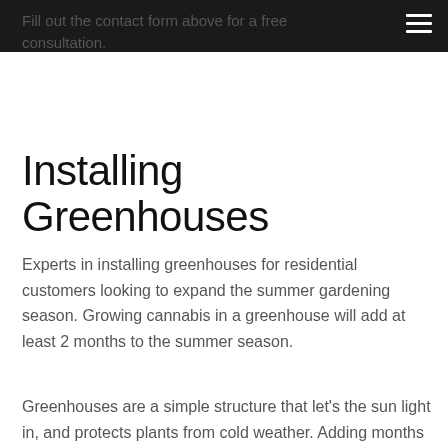Fill out the contact form above for a free consultation.
Installing Greenhouses
Experts in installing greenhouses for residential customers looking to expand the summer gardening season. Growing cannabis in a greenhouse will add at least 2 months to the summer season.
Greenhouses are a simple structure that let's the sun light in, and protects plants from cold weather. Adding months to the summer and